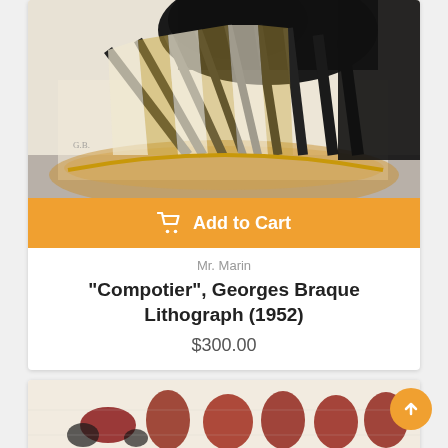[Figure (photo): Cropped artwork image showing a Georges Braque lithograph 'Compotier' (1952) — abstract dark shapes over beige and gold forms on a light background]
Add to Cart
Mr. Marin
"Compotier", Georges Braque Lithograph (1952)
$300.00
[Figure (photo): Partially visible second artwork image with red and dark abstract marks on a light beige background]